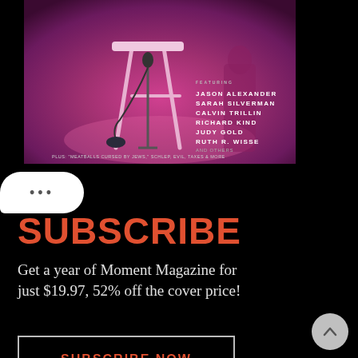[Figure (photo): Magazine cover with pink/purple dramatic lighting, bar stool and microphone stand silhouette, featuring names: Jason Alexander, Sarah Silverman, Calvin Trillin, Richard Kind, Judy Gold, Ruth R. Wisse and others. Plus 'Meatballs Cursed by Jews,' Schlep, Evil, Taxes & More]
SUBSCRIBE
Get a year of Moment Magazine for just $19.97, 52% off the cover price!
SUBSCRIBE NOW
MOMENT MINUTE